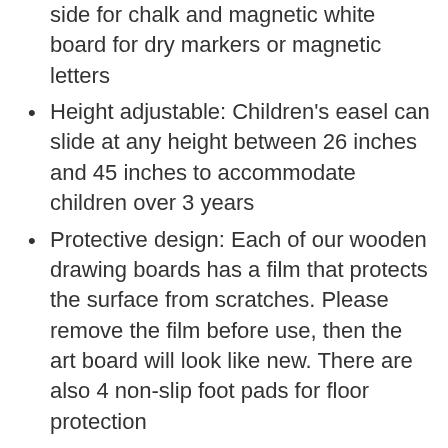side for chalk and magnetic white board for dry markers or magnetic letters
Height adjustable: Children's easel can slide at any height between 26 inches and 45 inches to accommodate children over 3 years
Protective design: Each of our wooden drawing boards has a film that protects the surface from scratches. Please remove the film before use, then the art board will look like new. There are also 4 non-slip foot pads for floor protection
Bottom storage tray: Designed with your best interests in mind, this blackboard has a bottom tray for easy storage. Keep necessities such as